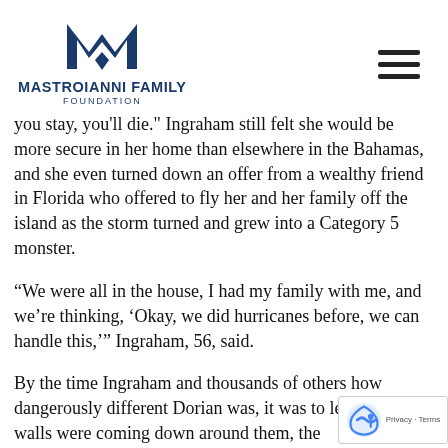[Figure (logo): Mastroianni Family Foundation logo with stylized M in blue and the organization name below]
you stay, you'll die." Ingraham still felt she would be more secure in her home than elsewhere in the Bahamas, and she even turned down an offer from a wealthy friend in Florida who offered to fly her and her family off the island as the storm turned and grew into a Category 5 monster.
“We were all in the house, I had my family with me, and we’re thinking, ‘Okay, we did hurricanes before, we can handle this,’” Ingraham, 56, said.
By the time Ingraham and thousands of others how dangerously different Dorian was, it was to leave. The walls were coming down around them, the